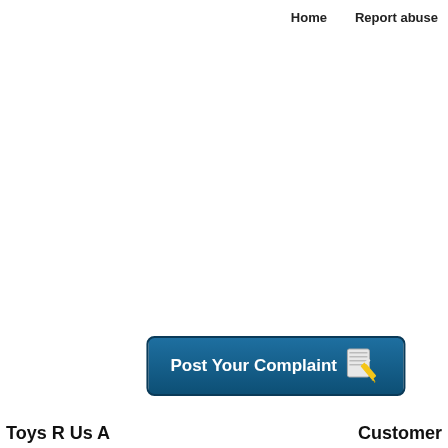Home    Report abuse
[Figure (screenshot): Blue rounded rectangle button labeled 'Post Your Complaint' with a notepad and pencil icon on the right side]
Toys R Us A...  Customer